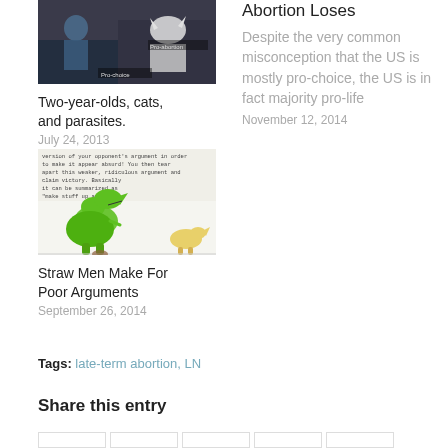[Figure (photo): Photo of a child with a cat, labeled Pro-choice and Pro-abortion]
Two-year-olds, cats, and parasites.
July 24, 2013
Abortion Loses
Despite the very common misconception that the US is mostly pro-choice, the US is in fact majority pro-life
November 12, 2014
[Figure (illustration): Cartoon of dinosaurs with text about straw man argument]
Straw Men Make For Poor Arguments
September 26, 2014
Tags: late-term abortion, LN
Share this entry